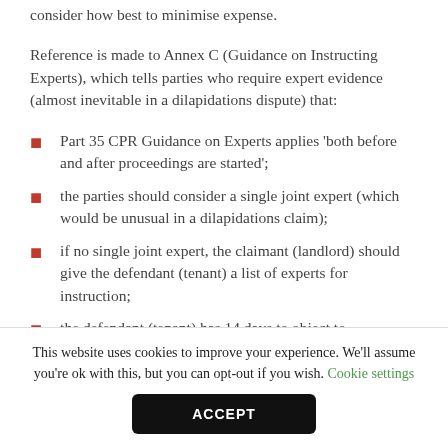consider how best to minimise expense.
Reference is made to Annex C (Guidance on Instructing Experts), which tells parties who require expert evidence (almost inevitable in a dilapidations dispute) that:
Part 35 CPR Guidance on Experts applies 'both before and after proceedings are started';
the parties should consider a single joint expert (which would be unusual in a dilapidations claim);
if no single joint expert, the claimant (landlord) should give the defendant (tenant) a list of experts for instruction;
the defendant (tenant) has 14 days to object to
This website uses cookies to improve your experience. We'll assume you're ok with this, but you can opt-out if you wish. Cookie settings
ACCEPT